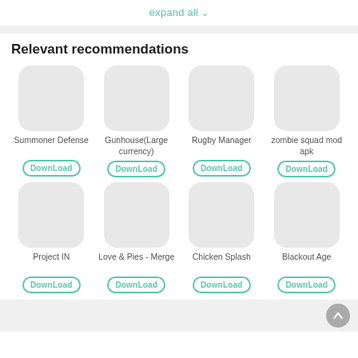expand all ∨
Relevant recommendations
[Figure (screenshot): App icon placeholder for Summoner Defense]
Summoner Defense
DownLoad
[Figure (screenshot): App icon placeholder for Gunhouse(Large currency)]
Gunhouse(Large currency)
DownLoad
[Figure (screenshot): App icon placeholder for Rugby Manager]
Rugby Manager
DownLoad
[Figure (screenshot): App icon placeholder for zombie squad mod apk]
zombie squad mod apk
DownLoad
[Figure (screenshot): App icon placeholder for Project IN]
Project IN
DownLoad
[Figure (screenshot): App icon placeholder for Love & Pies - Merge]
Love & Pies - Merge
DownLoad
[Figure (screenshot): App icon placeholder for Chicken Splash]
Chicken Splash
DownLoad
[Figure (screenshot): App icon placeholder for Blackout Age]
Blackout Age
DownLoad